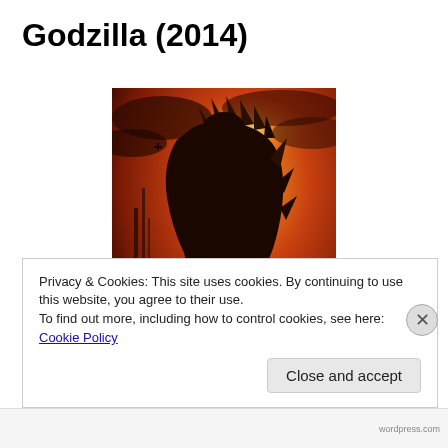Godzilla (2014)
[Figure (photo): Movie poster for Godzilla (2014) showing the large monster Godzilla from behind against a fiery orange sky, with tiny human figures on rubble in the foreground and the GODZILLA title text at the bottom]
Privacy & Cookies: This site uses cookies. By continuing to use this website, you agree to their use.
To find out more, including how to control cookies, see here: Cookie Policy
Close and accept